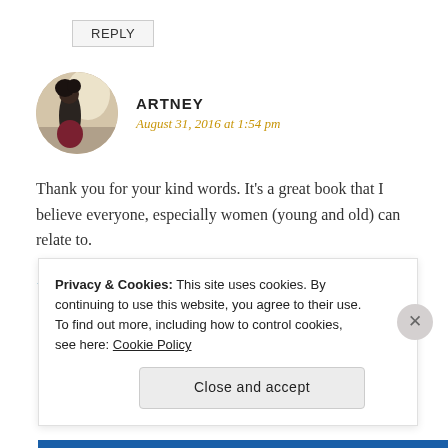REPLY
[Figure (photo): Circular avatar photo of a woman (Artney) posing in a hallway]
ARTNEY
August 31, 2016 at 1:54 pm
Thank you for your kind words. It's a great book that I believe everyone, especially women (young and old) can relate to.
Like
Privacy & Cookies: This site uses cookies. By continuing to use this website, you agree to their use.
To find out more, including how to control cookies, see here: Cookie Policy
Close and accept